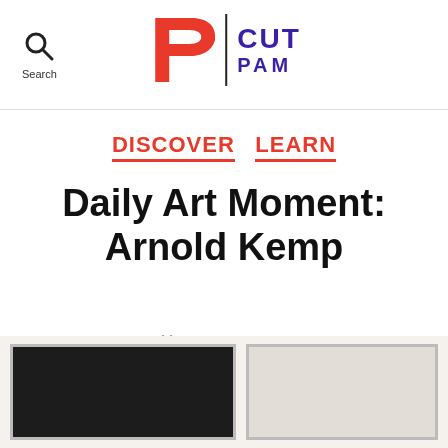[Figure (logo): PAM CUT logo with red P shape and blue PAM CUT text, with search icon on the left]
DISCOVER  LEARN
Daily Art Moment: Arnold Kemp
April 26, 2021
[Figure (photo): Two framed artworks side by side — left is a dark near-black rectangle, right is a lighter cream rectangle]